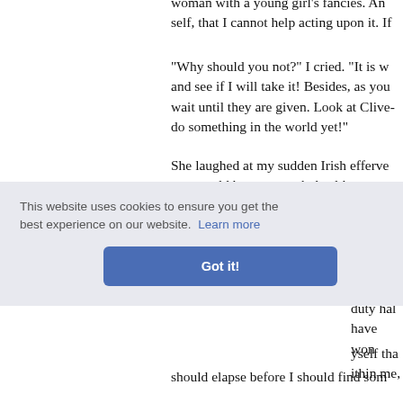woman with a young girl's fancies. And my self, that I cannot help acting upon it. If
"Why should you not?" I cried. "It is w and see if I will take it! Besides, as you wait until they are given. Look at Clive- do something in the world yet!"
She laughed at my sudden Irish efferve man could have,—youth, health, streng I am glad—so glad—if it wakens these
"And if I do——"
n velvet u duty hal have won
yself tha ithin me, should elapse before I should find som
This website uses cookies to ensure you get the best experience on our website. Learn more